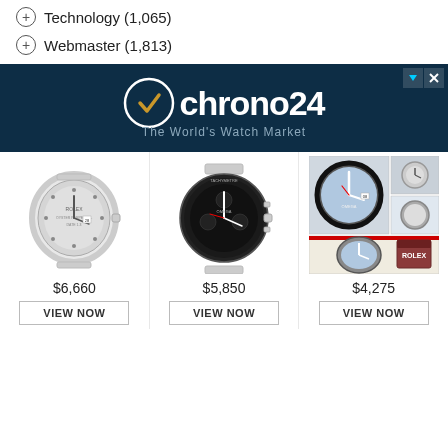Technology (1,065)
Webmaster (1,813)
[Figure (screenshot): Chrono24 advertisement banner: dark navy background with Chrono24 logo (clock icon with gold checkmark hands, white text 'chrono24', tagline 'The World's Watch Market') and three luxury watch listings with prices $6,660, $5,850, $4,275 each with a VIEW NOW button.]